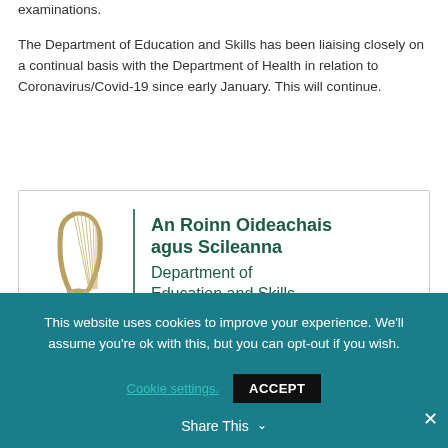examinations.
The Department of Education and Skills has been liaising closely on a continual basis with the Department of Health in relation to Coronavirus/Covid-19 since early January. This will continue.
[Figure (logo): An Roinn Oideachais agus Scileanna / Department of Education and Skills logo with Irish harp]
Link to complete Press Release
This website uses cookies to improve your experience. We'll assume you're ok with this, but you can opt-out if you wish.
Cookie settings. ACCEPT Share This ×